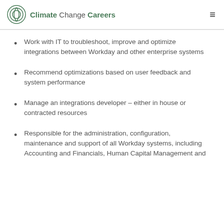Climate Change Careers
Work with IT to troubleshoot, improve and optimize integrations between Workday and other enterprise systems
Recommend optimizations based on user feedback and system performance
Manage an integrations developer – either in house or contracted resources
Responsible for the administration, configuration, maintenance and support of all Workday systems, including Accounting and Financials, Human Capital Management and